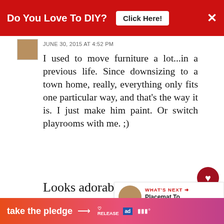Do You Love To DIY? Click Here!
JUNE 30, 2015 AT 4:52 PM
I used to move furniture a lot...in a previous life. Since downsizing to a town home, really, everything only fits one particular way, and that's the way it is. I just make him paint. Or switch playrooms with me. ;)
Looks adorable!
REPLY DELETE
WHAT'S NEXT → Placemat To Pillow In Les...
▾  REPLIES
Kim
take the pledge →